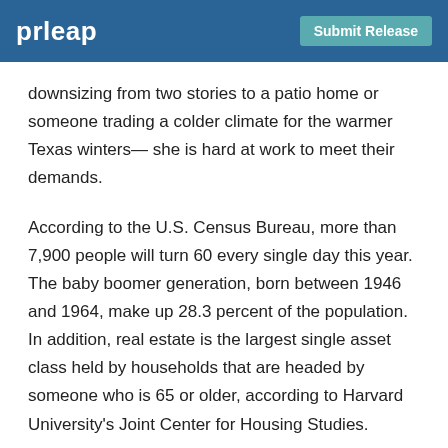prleap | Submit Release
downsizing from two stories to a patio home or someone trading a colder climate for the warmer Texas winters— she is hard at work to meet their demands.
According to the U.S. Census Bureau, more than 7,900 people will turn 60 every single day this year. The baby boomer generation, born between 1946 and 1964, make up 28.3 percent of the population. In addition, real estate is the largest single asset class held by households that are headed by someone who is 65 or older, according to Harvard University's Joint Center for Housing Studies.
Switzer is located at Prudential Gary Greene, Realtors' Katy office at 23922 Cinco Village Center Blvd, #123